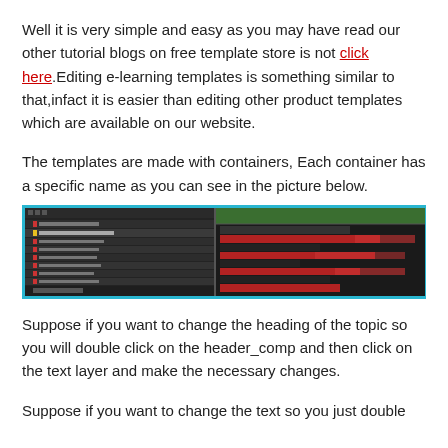Well it is very simple and easy as you may have read our other tutorial blogs on free template store is not click here.Editing e-learning templates is something similar to that,infact it is easier than editing other product templates which are available on our website.
The templates are made with containers, Each container has a specific name as you can see in the picture below.
[Figure (screenshot): A screenshot of a video editing or e-learning authoring tool interface, showing a layers/timeline panel on the left with various named containers/components listed, and a timeline/track view on the right with colored bars (red, green, dark) representing content blocks.]
Suppose if you want to change the heading of the topic so you will double click on the header_comp and then click on the text layer and make the necessary changes.
Suppose if you want to change the text so you just double